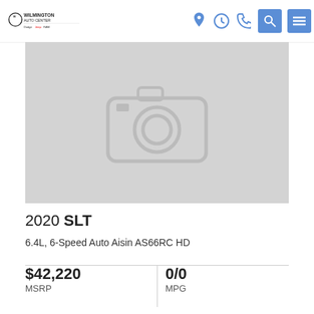Wilmington Auto Center
[Figure (photo): Vehicle image placeholder with camera icon on gray background]
2020 SLT
6.4L, 6-Speed Auto Aisin AS66RC HD
$42,220
MSRP
0/0
MPG